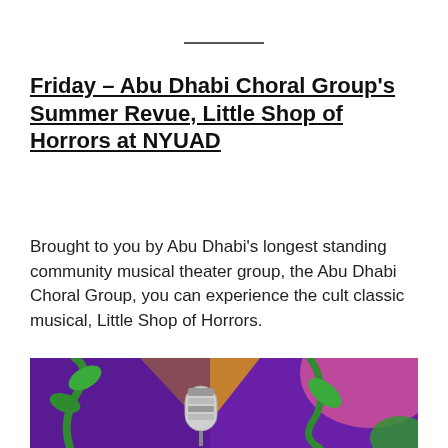Friday – Abu Dhabi Choral Group's Summer Revue, Little Shop of Horrors at NYUAD
Brought to you by Abu Dhabi's longest standing community musical theater group, the Abu Dhabi Choral Group, you can experience the cult classic musical, Little Shop of Horrors.
[Figure (illustration): Promotional image for Little Shop of Horrors showing a vintage microphone with green plant vines on a purple background with a yellow triangle and pink blob shapes]